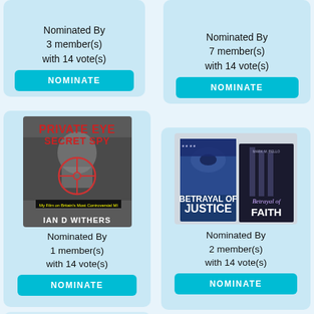Nominated By 3 member(s) with 14 vote(s)
NOMINATE
Nominated By 7 member(s) with 14 vote(s)
NOMINATE
[Figure (photo): Book cover: Private Eye Secret Spy by Ian D Withers]
Nominated By 1 member(s) with 14 vote(s)
NOMINATE
[Figure (photo): Two book covers: Betrayal of Justice and Betrayal of Faith by Mark M. Bello]
Nominated By 2 member(s) with 14 vote(s)
NOMINATE